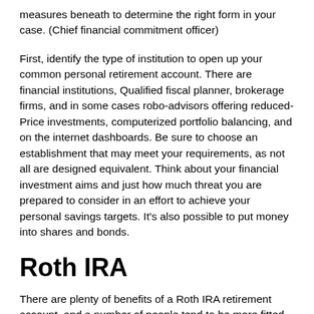measures beneath to determine the right form in your case. (Chief financial commitment officer)
First, identify the type of institution to open up your common personal retirement account. There are financial institutions, Qualified fiscal planner, brokerage firms, and in some cases robo-advisors offering reduced-Price investments, computerized portfolio balancing, and on the internet dashboards. Be sure to choose an establishment that may meet your requirements, as not all are designed equivalent. Think about your financial investment aims and just how much threat you are prepared to consider in an effort to achieve your personal savings targets. It's also possible to put money into shares and bonds.
Roth IRA
There are plenty of benefits of a Roth IRA retirement account, and a number of people tend to be more fitted to this kind of account than Other people. On the list of primary